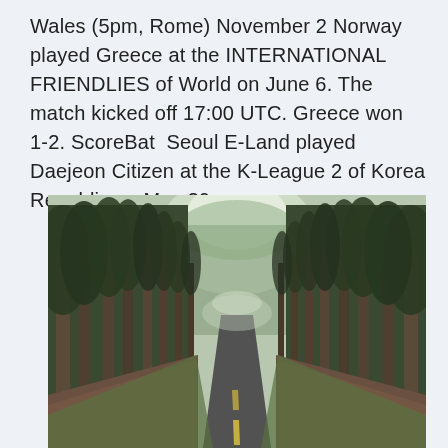Wales (5pm, Rome) November 2 Norway played Greece at the INTERNATIONAL FRIENDLIES of World on June 6. The match kicked off 17:00 UTC. Greece won 1-2. ScoreBat  Seoul E-Land played Daejeon Citizen at the K-League 2 of Korea Republic on May 29.
[Figure (photo): A straight road lined with tall pine trees on both sides, vanishing into the distance with a forested canopy overhead. The road has a yellow center marking. The scene has a muted, slightly vintage tone.]